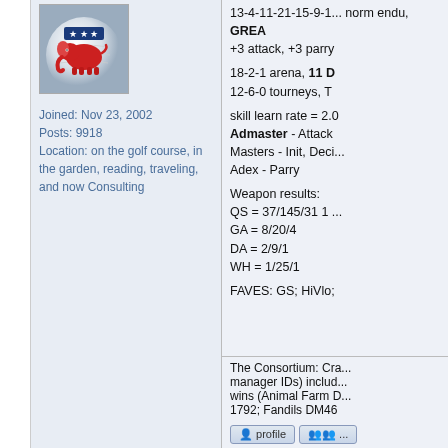[Figure (illustration): Republican elephant logo on golf ball background]
Joined: Nov 23, 2002
Posts: 9918
Location: on the golf course, in the garden, reading, traveling, and now Consulting
13-4-11-21-15-9-1... norm endu, GREAT +3 attack, +3 parry
18-2-1 arena, 11 D... 12-6-0 tourneys, T
skill learn rate = 2... Admaster - Attack Masters - Init, Deci... Adex - Parry
Weapon results:
QS = 37/145/31 1 ...
GA = 8/20/4
DA = 2/9/1
WH = 1/25/1
FAVES: GS; HiVlo;
The Consortium: Cra... manager IDs) includ... wins (Animal Farm D... 1792; Fandils DM46
The Consortium
ArchMaster Poster
Posted: Thu Dec 0...
Numero 1222